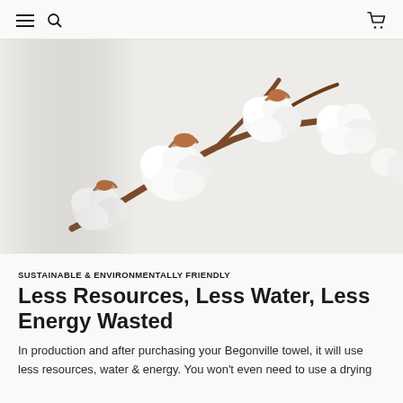Navigation header with hamburger menu, search icon, and cart icon
[Figure (photo): Close-up photograph of cotton bolls on a branch against a light/white background. Several fluffy white cotton flowers with brown seed pods and stems are visible.]
SUSTAINABLE & ENVIRONMENTALLY FRIENDLY
Less Resources, Less Water, Less Energy Wasted
In production and after purchasing your Begonville towel, it will use less resources, water & energy. You won't even need to use a drying